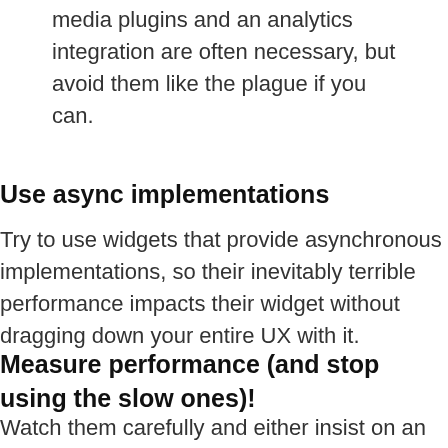media plugins and an analytics integration are often necessary, but avoid them like the plague if you can.
Use async implementations
Try to use widgets that provide asynchronous implementations, so their inevitably terrible performance impacts their widget without dragging down your entire UX with it.
Measure performance (and stop using the slow ones)!
Watch them carefully and either insist on an SLA, switch widget providers or find a way to do